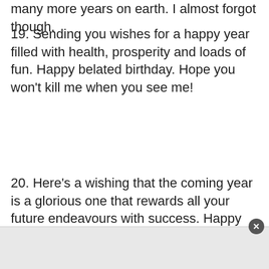many more years on earth. I almost forgot though.
19. Sending you wishes for a happy year filled with health, prosperity and loads of fun. Happy belated birthday. Hope you won't kill me when you see me!
20. Here's a wishing that the coming year is a glorious one that rewards all your future endeavours with success. Happy birthday to you.